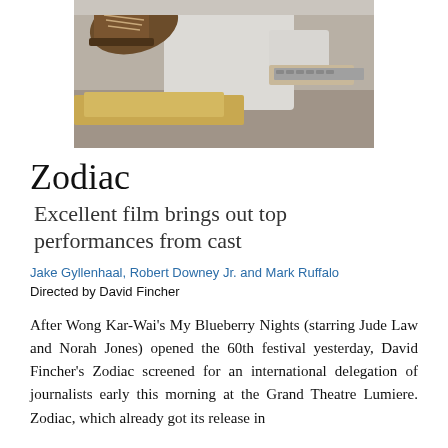[Figure (photo): A person in a white shirt at a desk working, with a shoe or boot visible in the foreground, suggesting a scene from the film Zodiac.]
Zodiac
Excellent film brings out top performances from cast
Jake Gyllenhaal, Robert Downey Jr. and Mark Ruffalo
Directed by David Fincher
After Wong Kar-Wai's My Blueberry Nights (starring Jude Law and Norah Jones) opened the 60th festival yesterday, David Fincher's Zodiac screened for an international delegation of journalists early this morning at the Grand Theatre Lumiere. Zodiac, which already got its release in